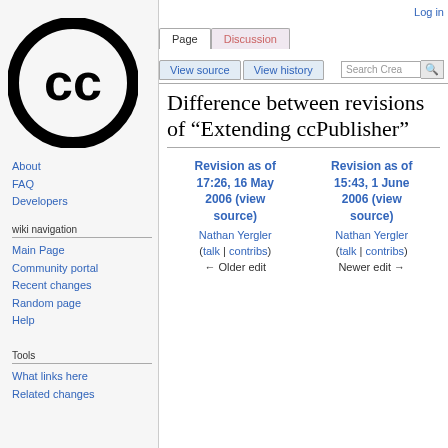[Figure (logo): Creative Commons CC logo — black circle with CC letters inside]
Log in
Page | Discussion | View source | View history | Search Crea [search button]
Difference between revisions of "Extending ccPublisher"
| Revision as of 17:26, 16 May 2006 (view source) | Revision as of 15:43, 1 June 2006 (view source) |
| --- | --- |
| Nathan Yergler | Nathan Yergler |
| (talk | contribs) | (talk | contribs) |
| ← Older edit | Newer edit → |
About
FAQ
Developers
wiki navigation
Main Page
Community portal
Recent changes
Random page
Help
Tools
What links here
Related changes